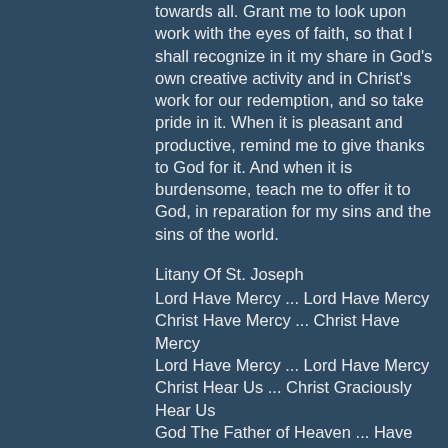towards all. Grant me to look upon work with the eyes of faith, so that I shall recognize in it my share in God's own creative activity and in Christ's work for our redemption, and so take pride in it. When it is pleasant and productive, remind me to give thanks to God for it. And when it is burdensome, teach me to offer it to God, in reparation for my sins and the sins of the world.
Litany Of St. Joseph
Lord Have Mercy ... Lord Have Mercy
Christ Have Mercy ... Christ Have Mercy
Lord Have Mercy ... Lord Have Mercy
Christ Hear Us ... Christ Graciously Hear Us
God The Father of Heaven ... Have mercy on Us
God The Son, Redeemer Of The World ... Have mercy on Us
God The Holy Spirit ... Have mercy on Us
Holy Trinity One God ... Have mercy on Us
Holy Mary ... Pray for Us